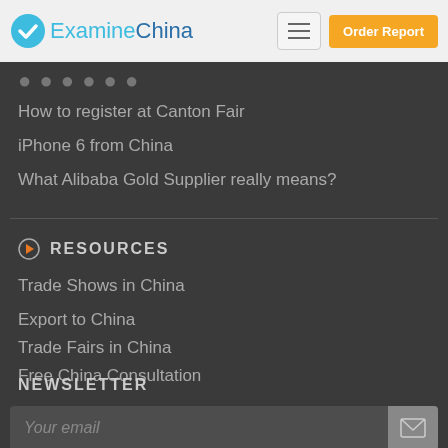ExamineChina — Order Report
How to register at Canton Fair
iPhone 6 from China
What Alibaba Gold Supplier really means?
RESOURCES
Trade Shows in China
Export to China
Trade Fairs in China
Free China Consultation
NEWSLETTER
Your email